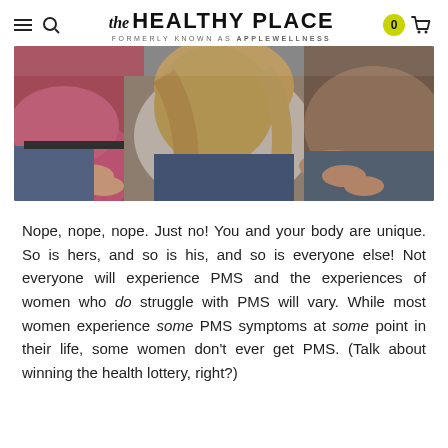the HEALTHY PLACE — formerly known as applewellness
[Figure (photo): Three women sitting closely together, showing their hands and torsos; black and white style photo suggesting a conversation or support group setting.]
Nope, nope, nope. Just no! You and your body are unique. So is hers, and so is his, and so is everyone else! Not everyone will experience PMS and the experiences of women who do struggle with PMS will vary. While most women experience some PMS symptoms at some point in their life, some women don't ever get PMS. (Talk about winning the health lottery, right?)